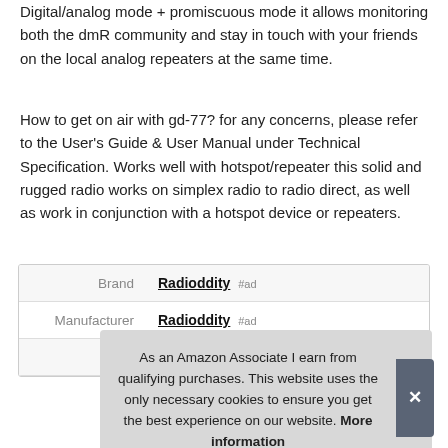Digital/analog mode + promiscuous mode it allows monitoring both the dmR community and stay in touch with your friends on the local analog repeaters at the same time.
How to get on air with gd-77? for any concerns, please refer to the User's Guide & User Manual under Technical Specification. Works well with hotspot/repeater this solid and rugged radio works on simplex radio to radio direct, as well as work in conjunction with a hotspot device or repeaters.
| Brand | Radioddity #ad |
| Manufacturer | Radioddity #ad |
As an Amazon Associate I earn from qualifying purchases. This website uses the only necessary cookies to ensure you get the best experience on our website. More information